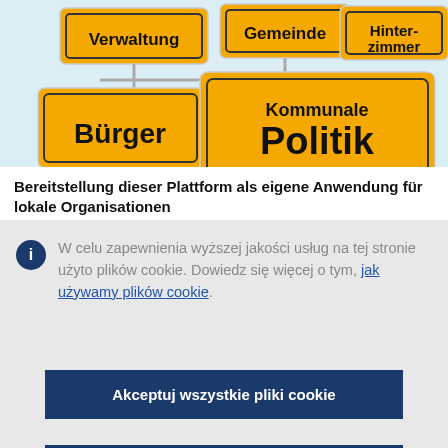[Figure (illustration): Yellow German street/community signs showing words: Verwaltung, Gemeinde, Hinterzimmer, Bürger, Kommunale Politik on yellow rectangular signs with black text and rounded corners, arranged overlapping on a light blue background.]
Bereitstellung dieser Plattform als eigene Anwendung für lokale Organisationen
W celu zapewnienia wyższej jakości usług na tej stronie użyto plików cookie. Dowiedz się więcej o tym, jak używamy plików cookie.
Akceptuj wszystkie pliki cookie
Akceptuj tylko niezbędne pliki cookie